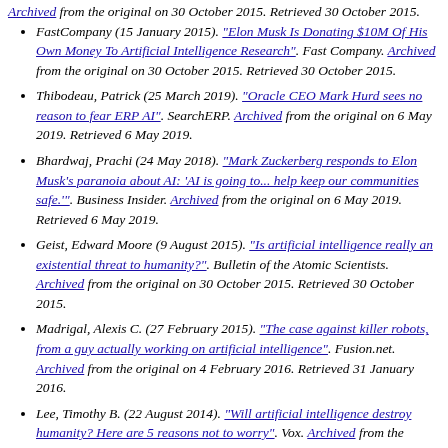Archived from the original on 30 October 2015. Retrieved 30 October 2015.
FastCompany (15 January 2015). "Elon Musk Is Donating $10M Of His Own Money To Artificial Intelligence Research". Fast Company. Archived from the original on 30 October 2015. Retrieved 30 October 2015.
Thibodeau, Patrick (25 March 2019). "Oracle CEO Mark Hurd sees no reason to fear ERP AI". SearchERP. Archived from the original on 6 May 2019. Retrieved 6 May 2019.
Bhardwaj, Prachi (24 May 2018). "Mark Zuckerberg responds to Elon Musk's paranoia about AI: 'AI is going to... help keep our communities safe.'". Business Insider. Archived from the original on 6 May 2019. Retrieved 6 May 2019.
Geist, Edward Moore (9 August 2015). "Is artificial intelligence really an existential threat to humanity?". Bulletin of the Atomic Scientists. Archived from the original on 30 October 2015. Retrieved 30 October 2015.
Madrigal, Alexis C. (27 February 2015). "The case against killer robots, from a guy actually working on artificial intelligence". Fusion.net. Archived from the original on 4 February 2016. Retrieved 31 January 2016.
Lee, Timothy B. (22 August 2014). "Will artificial intelligence destroy humanity? Here are 5 reasons not to worry". Vox. Archived from the original on 30 October 2015. Retrieved 30 October 2015.